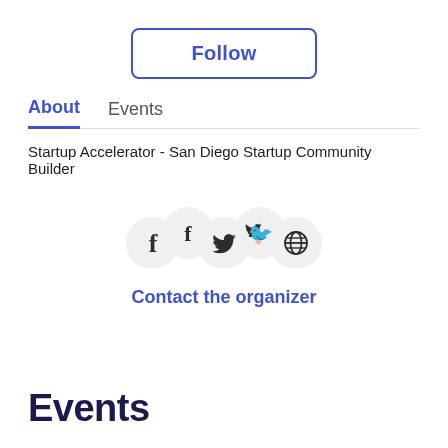Follow
About
Events
Startup Accelerator - San Diego Startup Community Builder
[Figure (illustration): Three social media icons: Facebook (f), Twitter (bird), and Globe/Website, each in a light gray circle]
Contact the organizer
Events